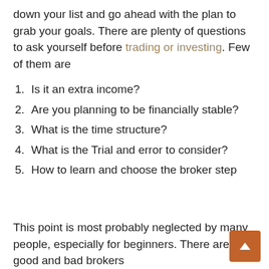down your list and go ahead with the plan to grab your goals. There are plenty of questions to ask yourself before trading or investing. Few of them are
Is it an extra income?
Are you planning to be financially stable?
What is the time structure?
What is the Trial and error to consider?
How to learn and choose the broker step
This point is most probably neglected by many people, especially for beginners. There are both good and bad brokers